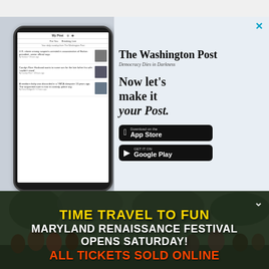[Figure (screenshot): Washington Post app advertisement showing phone mockup with news articles, Washington Post logo, tagline 'Now let's make it your Post.' and App Store / Google Play download buttons]
[Figure (photo): Maryland Renaissance Festival advertisement with crowd of people in medieval costumes, yellow text 'TIME TRAVEL TO FUN', white text 'MARYLAND RENAISSANCE FESTIVAL OPENS SATURDAY!', red text 'ALL TICKETS SOLD ONLINE', with a chevron-down button]